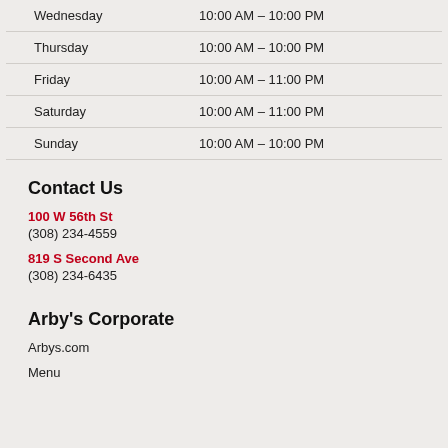| Day | Hours |
| --- | --- |
| Wednesday | 10:00 AM – 10:00 PM |
| Thursday | 10:00 AM – 10:00 PM |
| Friday | 10:00 AM – 11:00 PM |
| Saturday | 10:00 AM – 11:00 PM |
| Sunday | 10:00 AM – 10:00 PM |
Contact Us
100 W 56th St
(308) 234-4559
819 S Second Ave
(308) 234-6435
Arby's Corporate
Arbys.com
Menu